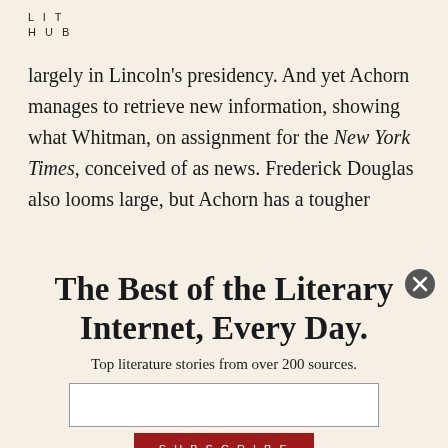LIT HUB
largely in Lincoln's presidency. And yet Achorn manages to retrieve new information, showing what Whitman, on assignment for the New York Times, conceived of as news. Frederick Douglas also looms large, but Achorn has a tougher
The Best of the Literary Internet, Every Day.
Top literature stories from over 200 sources.
SUBSCRIBE